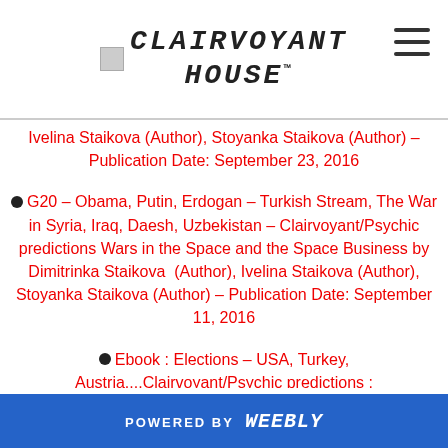CLAIRVOYANT HOUSE
Ivelina Staikova (Author), Stoyanka Staikova (Author) – Publication Date: September 23, 2016
G20 – Obama, Putin, Erdogan – Turkish Stream, The War in Syria, Iraq, Daesh, Uzbekistan – Clairvoyant/Psychic predictions Wars in the Space and the Space Business by Dimitrinka Staikova (Author), Ivelina Staikova (Author), Stoyanka Staikova (Author) – Publication Date: September 11, 2016
Ebook : Elections – USA, Turkey, Austria....Clairvoyant/Psychic predictions : #BlackLivesMatter, The Coup in Turkey ?, Devlet Bahceli...
POWERED BY weebly